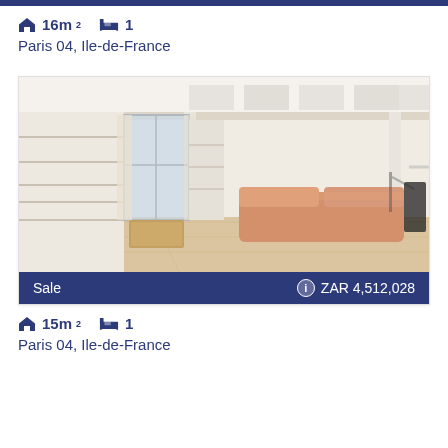16m² | 1 | Paris 04, Ile-de-France
[Figure (photo): Interior photo of a small studio apartment with a loft bed, white bookshelves, wooden floors, a salmon/peach colored sofa, and large windows with curtains. The loft structure has shelving above.]
Sale | ZAR 4,512,028
15m² | 1 | Paris 04, Ile-de-France